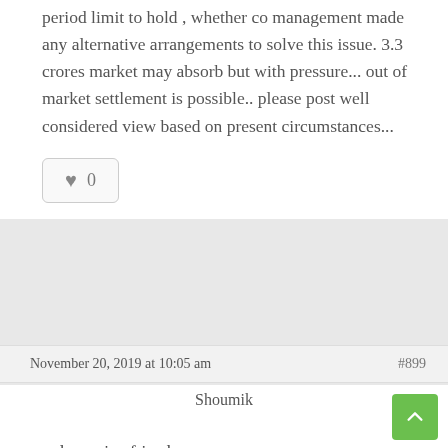period limit to hold , whether co management made any alternative arrangements to solve this issue. 3.3 crores market may absorb but with pressure... out of market settlement is possible.. please post well considered view based on present circumstances...
[Figure (other): Like button with heart icon showing count of 0]
November 20, 2019 at 10:05 am
#899
Shoumik
good morning friends.
Let begin our journey for discovering to value of this company.
When we see the NUMBERS for a company...